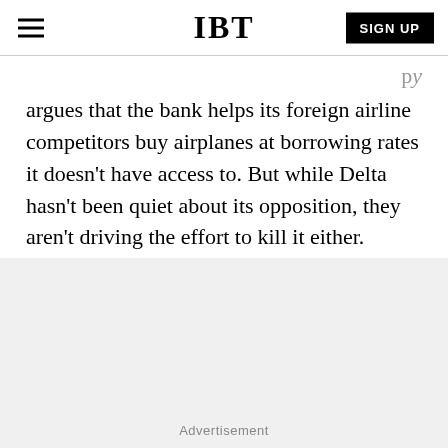IBT
argues that the bank helps its foreign airline competitors buy airplanes at borrowing rates it doesn’t have access to. But while Delta hasn’t been quiet about its opposition, they aren’t driving the effort to kill it either.
Advertisement